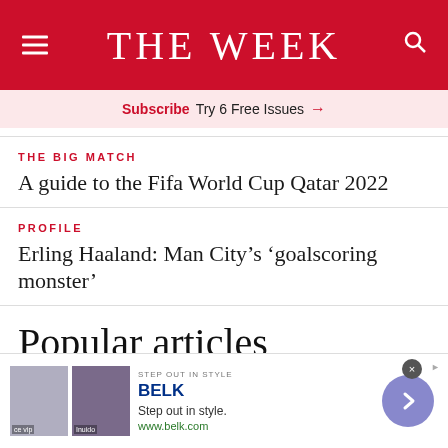THE WEEK
Subscribe Try 6 Free Issues →
THE BIG MATCH
A guide to the Fifa World Cup Qatar 2022
PROFILE
Erling Haaland: Man City's 'goalscoring monster'
Popular articles
[Figure (screenshot): BELK advertisement banner: 'Step out in style. www.belk.com' with two product images and a navigation chevron button]